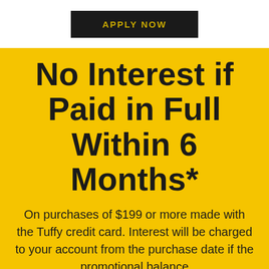APPLY NOW
No Interest if Paid in Full Within 6 Months*
On purchases of $199 or more made with the Tuffy credit card. Interest will be charged to your account from the purchase date if the promotional balance